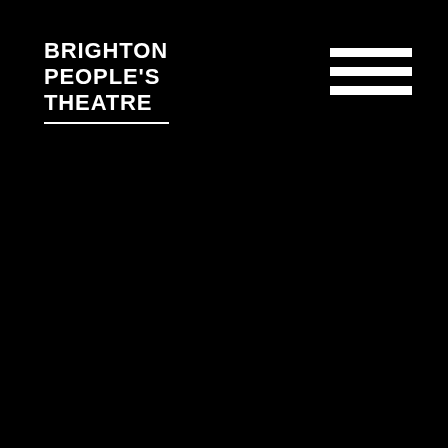BRIGHTON PEOPLE'S THEATRE
[Figure (logo): Hamburger menu icon — three white horizontal bars stacked vertically, top-right corner]